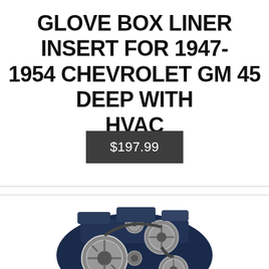GLOVE BOX LINER INSERT FOR 1947-1954 CHEVROLET GM 45 DEEP WITH HVAC
$197.99
[Figure (photo): Chrome accessory drive kit / serpentine belt system mounted on a dark blue V8 engine block, showing polished aluminum pulleys, brackets and tensioner assembly]